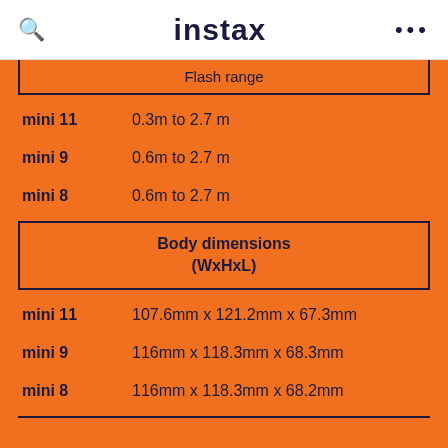instax
| Flash range |
| --- |
| mini 11 | 0.3m to 2.7 m |
| mini 9 | 0.6m to 2.7 m |
| mini 8 | 0.6m to 2.7 m |
| Body dimensions (WxHxL) |
| --- |
| mini 11 | 107.6mm x 121.2mm x 67.3mm |
| mini 9 | 116mm x 118.3mm x 68.3mm |
| mini 8 | 116mm x 118.3mm x 68.2mm |